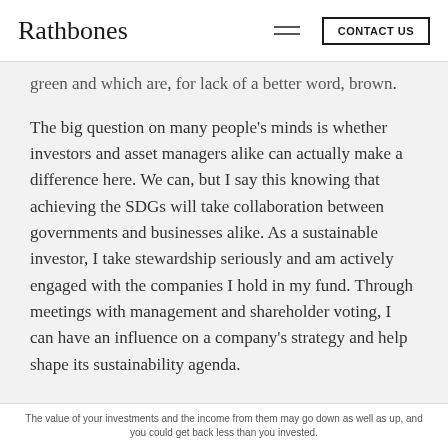Rathbones | CONTACT US
green and which are, for lack of a better word, brown.
The big question on many people's minds is whether investors and asset managers alike can actually make a difference here. We can, but I say this knowing that achieving the SDGs will take collaboration between governments and businesses alike. As a sustainable investor, I take stewardship seriously and am actively engaged with the companies I hold in my fund. Through meetings with management and shareholder voting, I can have an influence on a company's strategy and help shape its sustainability agenda.
At present, we know that the level of government
The value of your investments and the income from them may go down as well as up, and you could get back less than you invested.